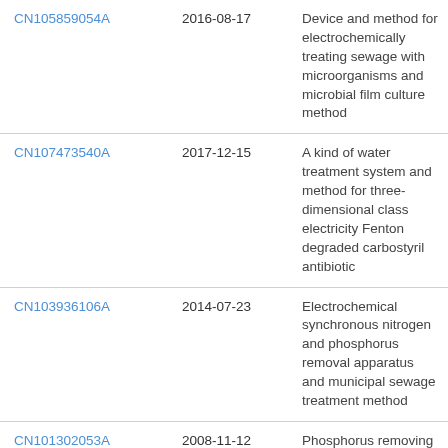| CN105859054A | 2016-08-17 | Device and method for electrochemically treating sewage with microorganisms and microbial film culture method |
| CN107473540A | 2017-12-15 | A kind of water treatment system and method for three-dimensional class electricity Fenton degraded carbostyril antibiotic |
| CN103936106A | 2014-07-23 | Electrochemical synchronous nitrogen and phosphorus removal apparatus and municipal sewage treatment method |
| CN101302053A | 2008-11-12 | Phosphorus removing method for municipal sewage plant |
| CN104591463A | 2015-05-06 | Method for treating preserved vegetable production wastewater |
| CN107522267A | 2017-12-29 | A kind of multistage out- |